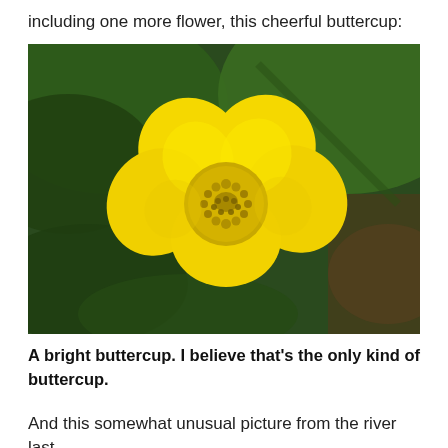including one more flower, this cheerful buttercup:
[Figure (photo): Close-up photograph of a bright yellow buttercup flower with multiple rounded petals and a dense cluster of yellow stamens at the center, set against blurred dark green leaves in the background.]
A bright buttercup. I believe that's the only kind of buttercup.
And this somewhat unusual picture from the river last